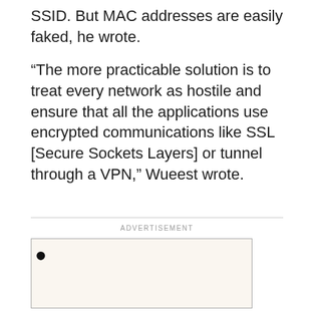SSID. But MAC addresses are easily faked, he wrote.
“The more practicable solution is to treat every network as hostile and ensure that all the applications use encrypted communications like SSL [Secure Sockets Layers] or tunnel through a VPN,” Wueest wrote.
ADVERTISEMENT
[Figure (other): Advertisement placeholder box with partial logo or symbol visible on the left side]